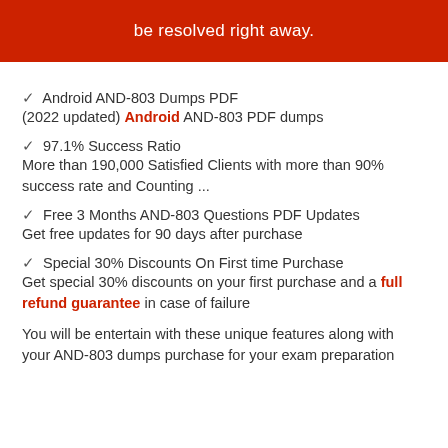be resolved right away.
✓ Android AND-803 Dumps PDF
(2022 updated) Android AND-803 PDF dumps
✓ 97.1% Success Ratio
More than 190,000 Satisfied Clients with more than 90% success rate and Counting ...
✓ Free 3 Months AND-803 Questions PDF Updates
Get free updates for 90 days after purchase
✓ Special 30% Discounts On First time Purchase
Get special 30% discounts on your first purchase and a full refund guarantee in case of failure
You will be entertain with these unique features along with your AND-803 dumps purchase for your exam preparation